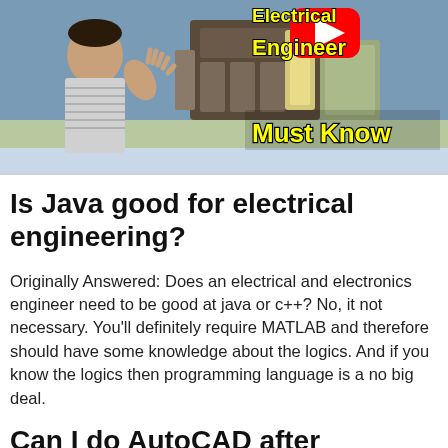[Figure (screenshot): YouTube video thumbnail showing a man pointing at electrical engineering equipment. Text overlay reads 'Electrical Engineer Must Know' in bold yellow text with black outline. A red YouTube play button is visible in the upper right area.]
Is Java good for electrical engineering?
Originally Answered: Does an electrical and electronics engineer need to be good at java or c++? No, it not necessary. You'll definitely require MATLAB and therefore should have some knowledge about the logics. And if you know the logics then programming language is a no big deal.
Can I do AutoCAD after